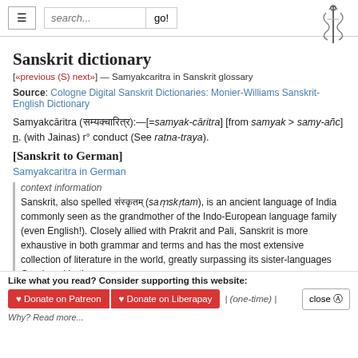Sanskrit dictionary
Sanskrit dictionary
[«previous (S) next»] — Samyakcaritra in Sanskrit glossary
Source: Cologne Digital Sanskrit Dictionaries: Monier-Williams Sanskrit-English Dictionary
Samyakcāritra (सम्यक्चारित्र):—[=samyak-cāritra] [from samyak > samy-añc] n. (with Jainas) r° conduct (See ratna-traya).
[Sanskrit to German]
Samyakcaritra in German
context information
Sanskrit, also spelled संस्कृतम् (saṃskṛtam), is an ancient language of India commonly seen as the grandmother of the Indo-European language family (even English!). Closely allied with Prakrit and Pali, Sanskrit is more exhaustive in both grammar and terms and has the most extensive collection of literature in the world, greatly surpassing its sister-languages Greek and Latin.
Discover the meaning of samyakcaritra in the context of Sanskrit from relevant books on
Like what you read? Consider supporting this website:
Donate on Patreon | Donate on Liberapay | (one-time) | close
Why? Read more...